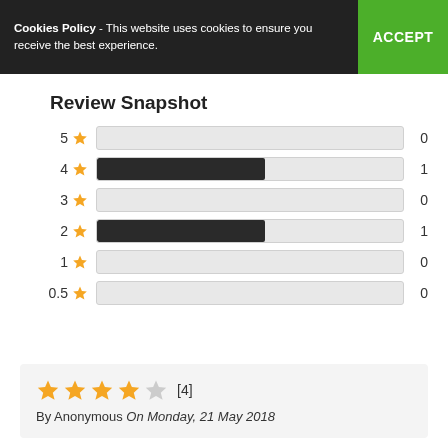Cookies Policy - This website uses cookies to ensure you receive the best experience. ACCEPT
Review Snapshot
[Figure (bar-chart): Review Snapshot]
★★★★☆ [4] By Anonymous On Monday, 21 May 2018